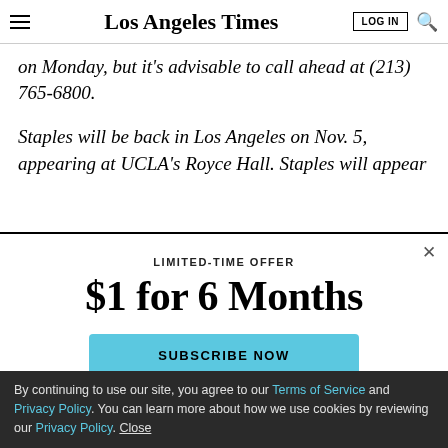Los Angeles Times
on Monday, but it's advisable to call ahead at (213) 765-6800.
Staples will be back in Los Angeles on Nov. 5, appearing at UCLA's Royce Hall. Staples will appear
LIMITED-TIME OFFER
$1 for 6 Months
SUBSCRIBE NOW
By continuing to use our site, you agree to our Terms of Service and Privacy Policy. You can learn more about how we use cookies by reviewing our Privacy Policy. Close